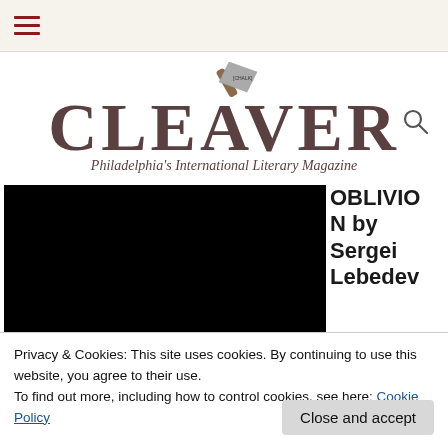Navigation menu bar with hamburger icon
[Figure (logo): Cleaver Magazine logo with cleaver image and text 'CLEAVER, Philadelphia's International Literary Magazine']
[Figure (photo): Black background book cover image showing the title OBLIVION in white handwritten/italic text]
OBLIVION by Sergei Lebedev
Privacy & Cookies: This site uses cookies. By continuing to use this website, you agree to their use.
To find out more, including how to control cookies, see here: Cookie Policy
Close and accept
New